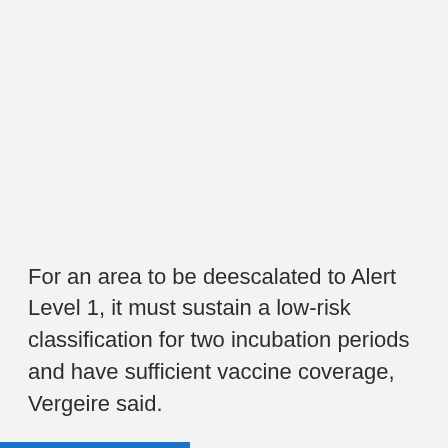For an area to be deescalated to Alert Level 1, it must sustain a low-risk classification for two incubation periods and have sufficient vaccine coverage, Vergeire said.